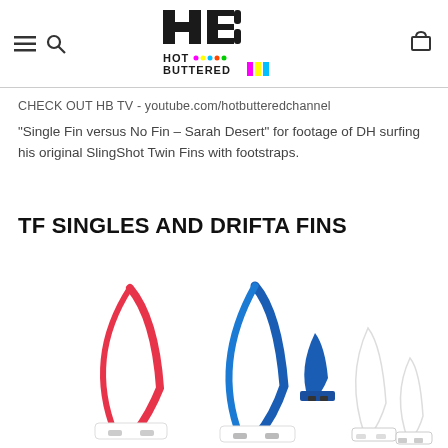Hot Buttered logo with navigation icons (hamburger, search, cart)
CHECK OUT HB TV - youtube.com/hotbutteredchannel
“Single Fin versus No Fin – Sarah Desert” for footage of DH surfing his original SlingShot Twin Fins with footstraps.
TF SINGLES AND DRIFTA FINS
[Figure (photo): Three surfboard fins shown side by side: a pink/white single fin on the left, a blue/white single fin in the center, and two small white fins (twin set) on the right.]